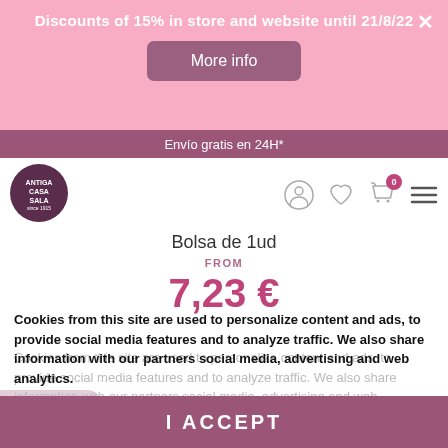Discounts of 15% in store and website until 21/8/22
More info
Envío gratis en 24H*
[Figure (logo): Antiga Casa Sala circular logo]
Bolsa de 1ud
FROM
7,23 €
Cookies from this site are used to personalize content and ads, to provide social media features and to analyze traffic. We also share information with our partners social media, advertising and web analytics.
More information   customize cookies
I ACCEPT